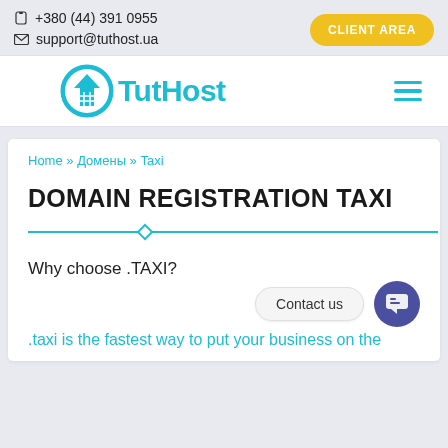📱 +380 (44) 391 0955
✉ support@tuthost.ua
[Figure (logo): TutHost logo with circular house icon in cyan and the text TutHost in cyan bold font]
Home » Домены » Taxi
DOMAIN REGISTRATION TAXI
Why choose .TAXI?
.taxi is the fastest way to put your business on the